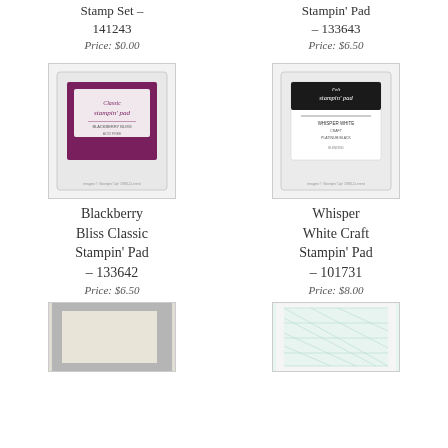Stamp Set – 141243
Price: $0.00
Stampin' Pad – 133643
Price: $6.50
[Figure (photo): Blackberry Bliss Classic Stampin' Pad product photo]
[Figure (photo): Whisper White Craft Stampin' Pad product photo]
Blackberry Bliss Classic Stampin' Pad – 133642
Price: $6.50
Whisper White Craft Stampin' Pad – 101731
Price: $8.00
[Figure (photo): Light cardstock product photo]
[Figure (photo): Mint/teal patterned paper product photo]